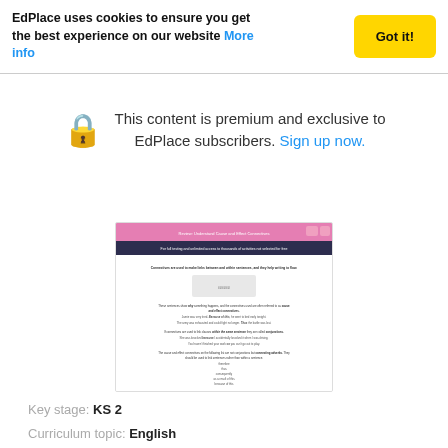EdPlace uses cookies to ensure you get the best experience on our website More info
This content is premium and exclusive to EdPlace subscribers. Sign up now.
[Figure (screenshot): Blurred preview thumbnail of an EdPlace worksheet about cause and effect connectives, showing pink header, dark subheader, and worksheet content text]
Key stage:  KS 2
Curriculum topic:  English
Curriculum subtopic:  Grammar: